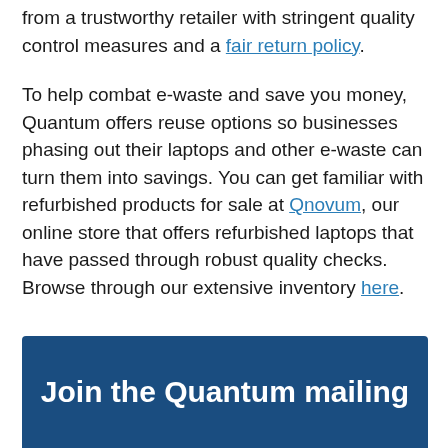from a trustworthy retailer with stringent quality control measures and a fair return policy.
To help combat e-waste and save you money, Quantum offers reuse options so businesses phasing out their laptops and other e-waste can turn them into savings. You can get familiar with refurbished products for sale at Qnovum, our online store that offers refurbished laptops that have passed through robust quality checks. Browse through our extensive inventory here.
Join the Quantum mailing